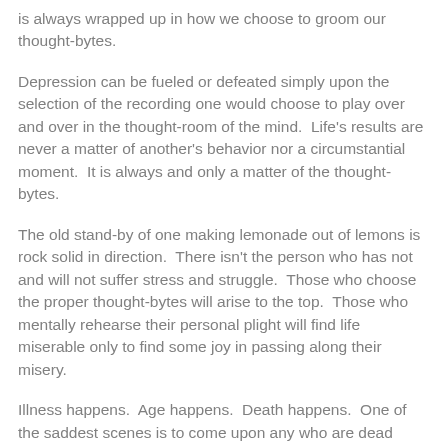is always wrapped up in how we choose to groom our thought-bytes.
Depression can be fueled or defeated simply upon the selection of the recording one would choose to play over and over in the thought-room of the mind.  Life's results are never a matter of another's behavior nor a circumstantial moment.  It is always and only a matter of the thought-bytes.
The old stand-by of one making lemonade out of lemons is rock solid in direction.  There isn't the person who has not and will not suffer stress and struggle.  Those who choose the proper thought-bytes will arise to the top.  Those who mentally rehearse their personal plight will find life miserable only to find some joy in passing along their misery.
Illness happens.  Age happens.  Death happens.  One of the saddest scenes is to come upon any who are dead while they breathe because they simply cannot find a way to think and then to comment about the outrageous blessings which are ours at every turn.